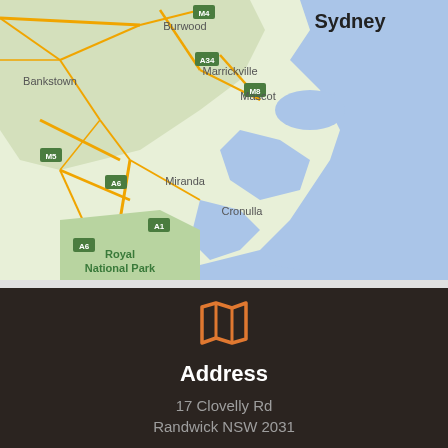[Figure (map): Google Maps view of Sydney metropolitan area showing suburbs including Sydney, Burwood, Bankstown, Marrickville, Mascot, Miranda, Cronulla, Royal National Park, with motorway labels M4, M5, M8, A34, A6, A1]
Address
17 Clovelly Rd
Randwick NSW 2031